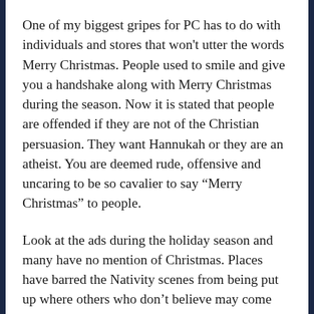One of my biggest gripes for PC has to do with individuals and stores that won't utter the words Merry Christmas. People used to smile and give you a handshake along with Merry Christmas during the season. Now it is stated that people are offended if they are not of the Christian persuasion. They want Hannukah or they are an atheist. You are deemed rude, offensive and uncaring to be so cavalier to say “Merry Christmas” to people.
Look at the ads during the holiday season and many have no mention of Christmas. Places have barred the Nativity scenes from being put up where others who don’t believe may come into contact. Now companies and businesses are having “holiday” parties and not “Christmas parties for their employees.